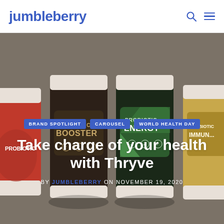jumbleberry
[Figure (photo): Hero background showing four supplement jars/bottles on a tan/beige surface. Jars visible include BOOSTER (dark label), ENERGY (green label), and partially visible red and yellow labeled jars on the edges.]
BRAND SPOTLIGHT
CAROUSEL
WORLD HEALTH DAY
Take charge of your health with Thryve
BY JUMBLEBERRY ON NOVEMBER 19, 2020